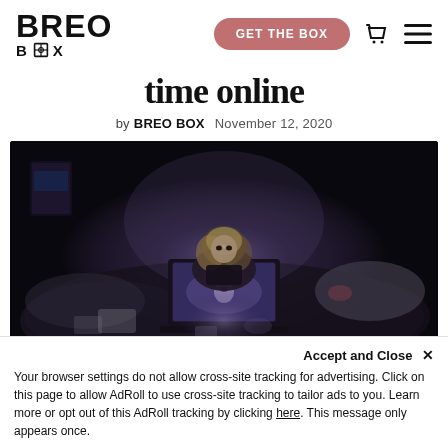BREO BOX — GET THE BOX
time online
by BREO BOX   November 12, 2020
[Figure (photo): Woman sitting in a dark room on a bed, illuminated by the glow of an Apple MacBook laptop screen, surrounded by rumpled sheets and pillows.]
Accept and Close ×
Your browser settings do not allow cross-site tracking for advertising. Click on this page to allow AdRoll to use cross-site tracking to tailor ads to you. Learn more or opt out of this AdRoll tracking by clicking here. This message only appears once.